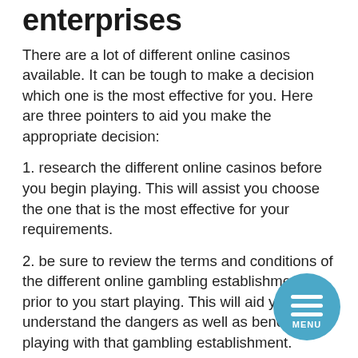enterprises
There are a lot of different online casinos available. It can be tough to make a decision which one is the most effective for you. Here are three pointers to aid you make the appropriate decision:
1. research the different online casinos before you begin playing. This will assist you choose the one that is the most effective for your requirements.
2. be sure to review the terms and conditions of the different online gambling establishments prior to you start playing. This will aid you understand the dangers as well as benefits of playing with that gambling establishment.
3. be sure to have a fantastic account with the online gambling enterprises. This will assist you improve benefits as well as discounts when you play.
[Figure (other): Circular menu button with three horizontal white lines and MENU text label on teal/blue background]